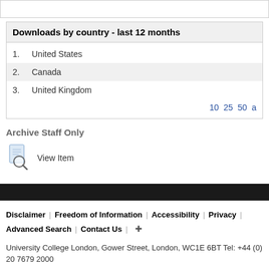Downloads by country - last 12 months
1. United States
2. Canada
3. United Kingdom
10 25 50 a
Archive Staff Only
View Item
Disclaimer | Freedom of Information | Accessibility | Privacy | Advanced Search | Contact Us | + University College London, Gower Street, London, WC1E 6BT Tel: +44 (0) 20 7679 2000 © UCL 1999–2022